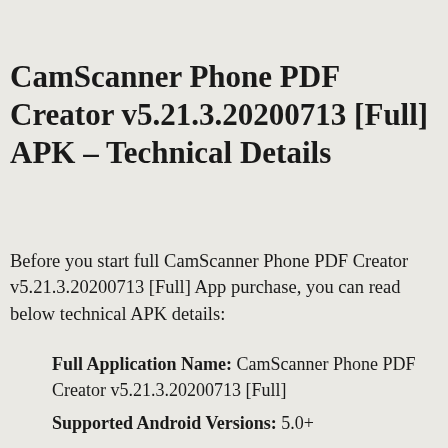CamScanner Phone PDF Creator v5.21.3.20200713 [Full] APK – Technical Details
Before you start full CamScanner Phone PDF Creator v5.21.3.20200713 [Full] App purchase, you can read below technical APK details:
Full Application Name: CamScanner Phone PDF Creator v5.21.3.20200713 [Full]
Supported Android Versions: 5.0+
APK File Name: CamScanner-